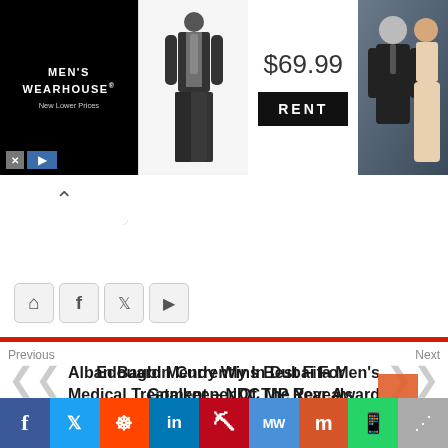[Figure (screenshot): Men's Wearhouse advertisement banner with suit image, $69.99 price, RENT button, and couple in formal wear photo]
[Figure (screenshot): Social media icon buttons: home, facebook, twitter, youtube]
Previous
Alban Bagbin Currently In Dubai For Medical Treatment – NDC MP Reveals
Next
Edouard Mendy Wins Best Fifa Men's Goalkeeper Of The Year Award
[Figure (screenshot): Social share bar with icons: Facebook, Twitter, Reddit, LinkedIn, Pinterest, MeWe, Mix, WhatsApp, Share]